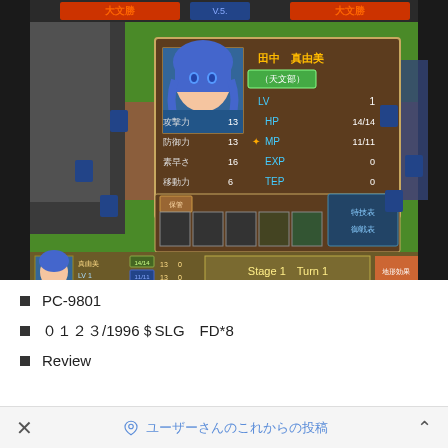[Figure (screenshot): PC-9801 strategy game screenshot showing a character status screen. Character named 田中 真由美 (天文部) with stats: LV 1, 攻撃力 13, HP 14/14, 防御力 13, MP 11/11, 素早さ 16, EXP 0, 移動力 6, TEP 0. Stage 1, Turn 1. Bottom status bar showing character info.]
PC-9801
／1996SLG FD*8
Review